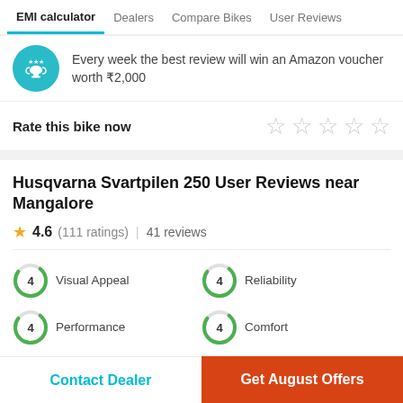EMI calculator | Dealers | Compare Bikes | User Reviews
Every week the best review will win an Amazon voucher worth ₹2,000
Rate this bike now ☆ ☆ ☆ ☆ ☆
Husqvarna Svartpilen 250 User Reviews near Mangalore
★ 4.6 (111 ratings) | 41 reviews
4 Visual Appeal
4 Reliability
4 Performance
4 Comfort
4 Service Experience
3 Maintenance cost
Contact Dealer | Get August Offers